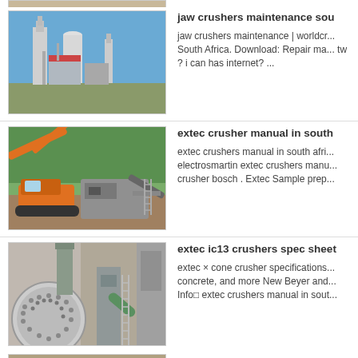[Figure (photo): Partial photo of industrial machinery at top of page]
[Figure (photo): Industrial cement plant or processing facility with tall columns and structures against a blue sky]
jaw crushers maintenance sou
jaw crushers maintenance | worldcr... South Africa. Download: Repair ma... tw ? i can has internet? ...
[Figure (photo): Orange excavator/crusher machine working at a quarry or construction site]
extec crusher manual in south
extec crushers manual in south afri... electrosmartin extec crushers manu... crusher bosch . Extec Sample prep...
[Figure (photo): Large industrial ball mill or grinding cylinder inside a factory building]
extec ic13 crushers spec sheet
extec × cone crusher specifications... concrete, and more New Beyer and... Info□ extec crushers manual in sout...
[Figure (photo): Partial photo at bottom of page showing industrial equipment]